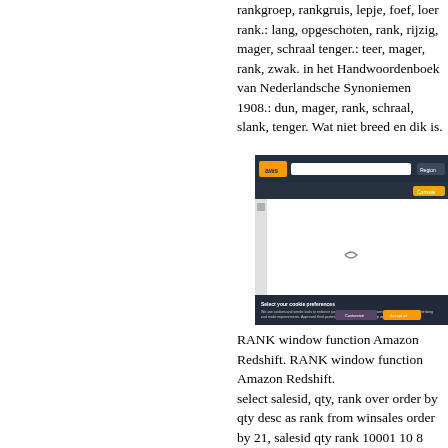rankgroep, rankgruis, lepje, foef, loer rank.: lang, opgeschoten, rank, rijzig, mager, schraal tenger.: teer, mager, rank, zwak. in het Handwoordenboek van Nederlandsche Synoniemen 1908.: dun, mager, rank, schraal, slank, tenger. Wat niet breed en dik is.
[Figure (screenshot): Screenshot of the AWS (Amazon Web Services) website showing a cookie preferences dialog overlay on a mostly white page. The top navigation bar is dark with the AWS logo and a search bar. A dark modal dialog at the bottom reads 'Select your cookie preferences' with options to customize or accept all cookies.]
RANK window function Amazon Redshift. RANK window function Amazon Redshift. select salesid, qty, rank over order by qty desc as rank from winsales order by 21, salesid qty rank 10001 10 8 10006 10 8 30001 10 8 40005